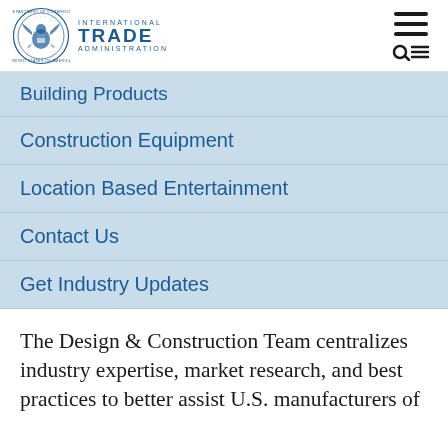International Trade Administration
Building Products
Construction Equipment
Location Based Entertainment
Contact Us
Get Industry Updates
The Design & Construction Team centralizes industry expertise, market research, and best practices to better assist U.S. manufacturers of construction and building products, designers of